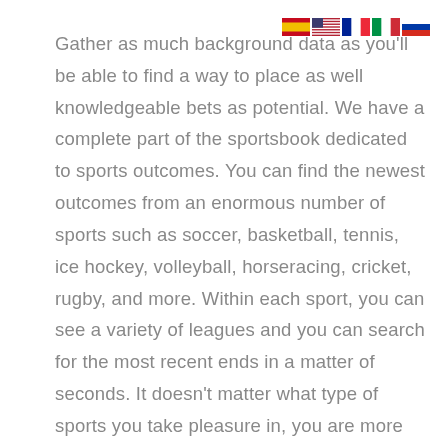[Figure (other): Row of four country flag icons: Spain, USA, France, Italy, Russia]
Gather as much background data as you'll be able to find a way to place as well knowledgeable bets as potential. We have a complete part of the sportsbook dedicated to sports outcomes. You can find the newest outcomes from an enormous number of sports such as soccer, basketball, tennis, ice hockey, volleyball, horseracing, cricket, rugby, and more. Within each sport, you can see a variety of leagues and you can search for the most recent ends in a matter of seconds. It doesn't matter what type of sports you take pleasure in, you are more than more doubtless to find the betting markets that you're looking for. All have been reviewed and vetted by our trademarked Covers BetSmart System.